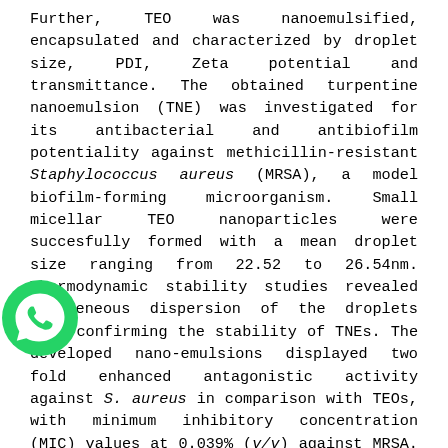Further, TEO was nanoemulsified, encapsulated and characterized by droplet size, PDI, Zeta potential and transmittance. The obtained turpentine nanoemulsion (TNE) was investigated for its antibacterial and antibiofilm potentiality against methicillin-resistant Staphylococcus aureus (MRSA), a model biofilm-forming microorganism. Small micellar TEO nanoparticles were succesfully formed with a mean droplet size ranging from 22.52 to 26.54nm. Thermodynamic stability studies revealed homogeneous dispersion of the droplets size confirming the stability of TNEs. The developed nano-emulsions displayed two fold enhanced antagonistic activity against S. aureus in comparison with TEOs, with minimum inhibitory concentration (MIC) values at 0.039% (v/v) against MRSA. Additionally, TNEs displayed potent antibiofilm activity against MRSA strains with percent biofilm disruption of around 70.83%. Findings from this study validates the phytomedicinal significance of turpentine nanoemulsions
[Figure (illustration): WhatsApp logo/icon: green circle with white phone handset symbol]